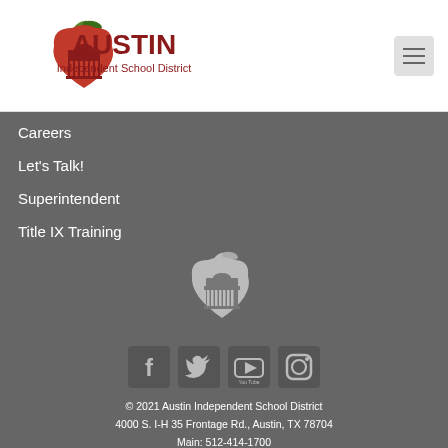[Figure (logo): Austin Independent School District logo with apple and building icon in red and dark red]
[Figure (other): Hamburger menu button (three horizontal lines) in a grey rounded square]
Careers
Let's Talk!
Superintendent
Title IX Training
[Figure (logo): Austin ISD white apple with building icon logo on grey background]
[Figure (other): Social media icons: Facebook, Twitter, YouTube, Instagram in grey square boxes]
© 2021 Austin Independent School District
4000 S. I-H 35 Frontage Rd., Austin, TX 78704
Main: 512-414-1700
Accessibility   Acceptable Use Policy   (en Español)
Non-Discrimination Policy   Privacy Policy   DMCA Notice   Site...